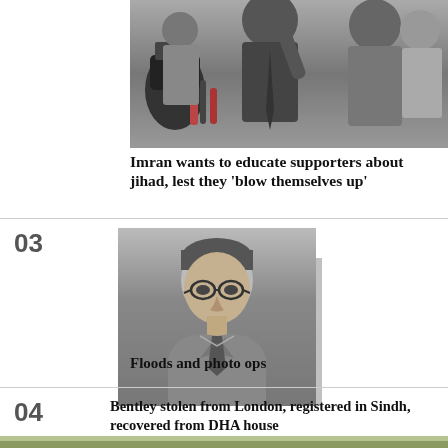[Figure (photo): Black and white photo of people at a press conference or public event, with cameras and raised hands visible]
Imran wants to educate supporters about jihad, lest they 'blow themselves up'
[Figure (photo): Black and white portrait photo of a middle-aged man wearing glasses and a suit with tie, with a grey geometric shadow/frame behind the photo]
Floods and photo ops
Bentley stolen from London, registered in Sindh, recovered from DHA house
[Figure (photo): Partial color photo at the bottom of the page, showing the top portion of an outdoor scene]